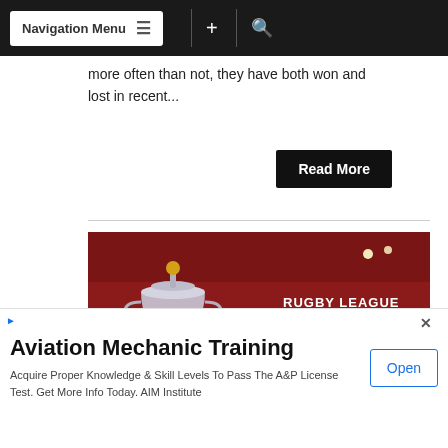Navigation Menu
more often than not, they have both won and lost in recent...
Read More
[Figure (photo): Rugby League World Cup trophy on a football stadium pitch with crowd in background, with text overlay reading 'RUGBY LEAGUE WORLD CUP']
Aviation Mechanic Training
Acquire Proper Knowledge & Skill Levels To Pass The A&P License Test. Get More Info Today. AIM Institute
Open